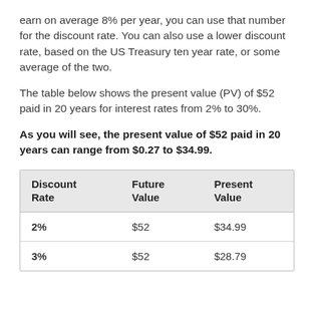earn on average 8% per year, you can use that number for the discount rate. You can also use a lower discount rate, based on the US Treasury ten year rate, or some average of the two.
The table below shows the present value (PV) of $52 paid in 20 years for interest rates from 2% to 30%.
As you will see, the present value of $52 paid in 20 years can range from $0.27 to $34.99.
| Discount Rate | Future Value | Present Value |
| --- | --- | --- |
| 2% | $52 | $34.99 |
| 3% | $52 | $28.79 |